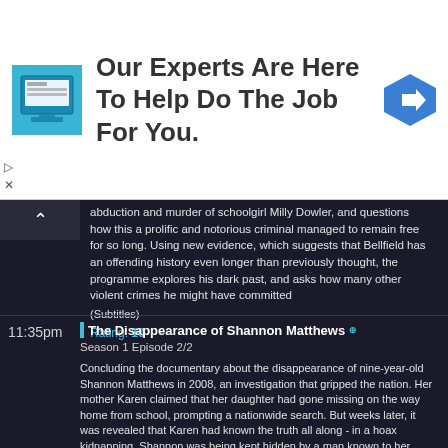[Figure (screenshot): Advertisement banner: icon of a computer screen on blue background, text 'Our Experts Are Here To Help Do The Job For You.', blue diamond navigation arrow icon on right]
abduction and murder of schoolgirl Milly Dowler, and questions how this a prolific and notorious criminal managed to remain free for so long. Using new evidence, which suggests that Bellfield has an offending history even longer than previously thought, the programme explores his dark past, and asks how many other violent crimes he might have committed
(Subtitles)
Rating: 10
11:35pm
The Disappearance of Shannon Matthews
Season 1 Episode 2/2
Concluding the documentary about the disappearance of nine-year-old Shannon Matthews in 2008, an investigation that gripped the nation. Her mother Karen claimed that her daughter had gone missing on the way home from school, prompting a nationwide search. But weeks later, it was revealed that Karen had known the truth all along - in a hoax kidnapping, Shannon was being kept hidden by a man known to her mother, who had plotted to claim the £50,000 reward money for her return
(Subtitles)
Rating: 6.4